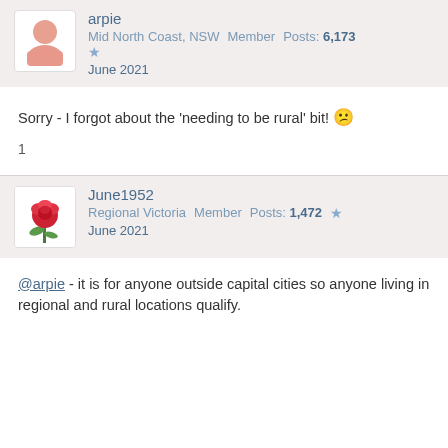arpie | Mid North Coast, NSW | Member | Posts: 6,173 | June 2021
Sorry - I forgot about the 'needing to be rural' bit! 😕
1
June1952 | Regional Victoria | Member | Posts: 1,472 | June 2021
@arpie - it is for anyone outside capital cities so anyone living in regional and rural locations qualify.